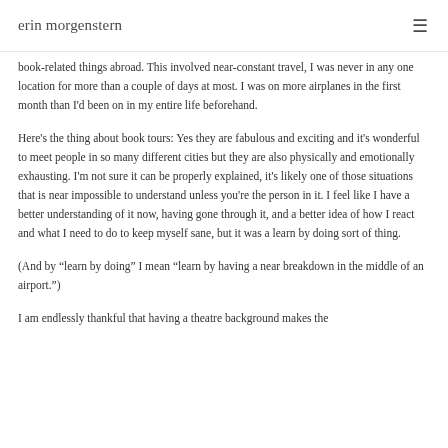erin morgenstern
book-related things abroad. This involved near-constant travel, I was never in any one location for more than a couple of days at most. I was on more airplanes in the first month than I'd been on in my entire life beforehand.
Here’s the thing about book tours: Yes they are fabulous and exciting and it’s wonderful to meet people in so many different cities but they are also physically and emotionally exhausting. I’m not sure it can be properly explained, it’s likely one of those situations that is near impossible to understand unless you’re the person in it. I feel like I have a better understanding of it now, having gone through it, and a better idea of how I react and what I need to do to keep myself sane, but it was a learn by doing sort of thing.
(And by “learn by doing” I mean “learn by having a near breakdown in the middle of an airport.”)
I am endlessly thankful that having a theatre background makes the